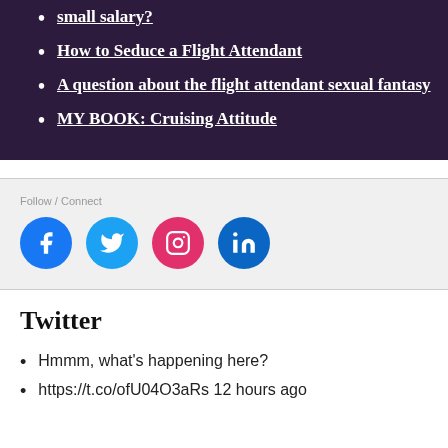small salary?
How to Seduce a Flight Attendant
A question about the flight attendant sexual fantasy
MY BOOK: Cruising Attitude
[Figure (infographic): Social media icons: Facebook (blue), Twitter (light blue), Instagram (pink/magenta), LinkedIn (dark blue)]
Twitter
Hmmm, what's happening here?
https://t.co/ofU04O3aRs 12 hours ago